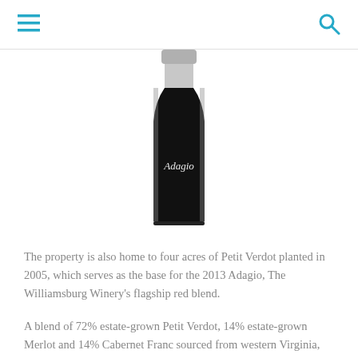navigation header with menu and search icons
[Figure (photo): A wine bottle partially visible from the top, showing a dark/black label with the word 'Adagio' in cursive script, centered in the image.]
The property is also home to four acres of Petit Verdot planted in 2005, which serves as the base for the 2013 Adagio, The Williamsburg Winery's flagship red blend.
A blend of 72% estate-grown Petit Verdot, 14% estate-grown Merlot and 14% Cabernet Franc sourced from western Virginia, the 2013 Adagio is outstanding and every bit as good as the 2010 version that won the coveted Virginia Governor's Cup in 2014.